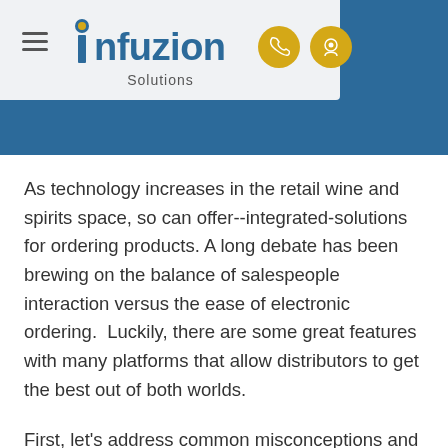Infuzion Solutions — navigation header with logo and contact icons
As technology increases in the retail wine and spirits space, so can offer--integrated-solutions for ordering products. A long debate has been brewing on the balance of salespeople interaction versus the ease of electronic ordering.  Luckily, there are some great features with many platforms that allow distributors to get the best out of both worlds.
First, let's address common misconceptions and terminology of electronic ordering.